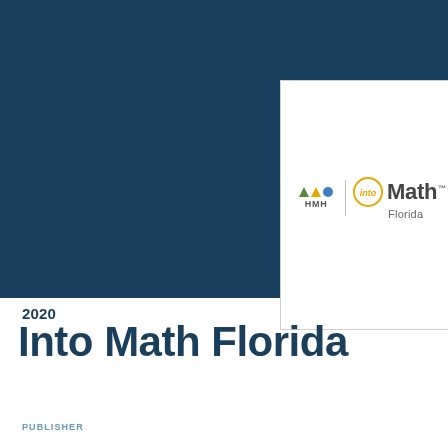[Figure (logo): HMH Into Math Florida product cover showing HMH logo with colored shapes, a circle with 'into' text, and 'Math Florida' text, displayed on a white card over dark teal background]
2020
Into Math Florida
PUBLISHER